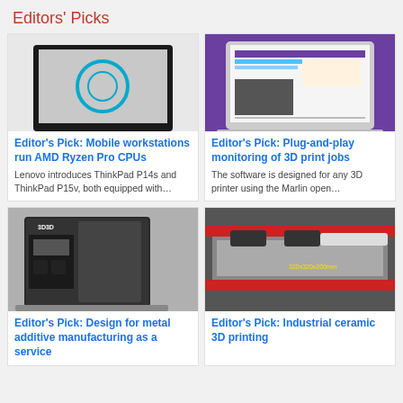Editors' Picks
[Figure (photo): Laptop displaying a 3D CAD ring design on screen]
Editor's Pick: Mobile workstations run AMD Ryzen Pro CPUs
Lenovo introduces ThinkPad P14s and ThinkPad P15v, both equipped with…
[Figure (photo): Laptop on purple background showing 3D print monitoring software interface]
Editor's Pick: Plug-and-play monitoring of 3D print jobs
The software is designed for any 3D printer using the Marlin open…
[Figure (photo): 3D3D branded metal additive manufacturing machine]
Editor's Pick: Design for metal additive manufacturing as a service
[Figure (photo): Industrial ceramic 3D printing machine showing 320x320x200mm build area]
Editor's Pick: Industrial ceramic 3D printing